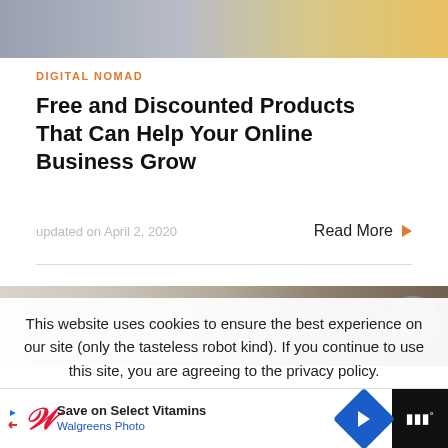[Figure (photo): Cropped top portion of a photo showing people, partially visible]
DIGITAL NOMAD
Free and Discounted Products That Can Help Your Online Business Grow
updated on April 2, 2020
Read More ▶
[Figure (photo): Partially visible photo at bottom of card, with a circular gray button overlay on the right]
This website uses cookies to ensure the best experience on our site (only the tasteless robot kind). If you continue to use this site, you are agreeing to the privacy policy.
[Figure (advertisement): Walgreens advertisement bar: Save on Select Vitamins - Walgreens Photo, with navigation arrow icon and dark right panel]